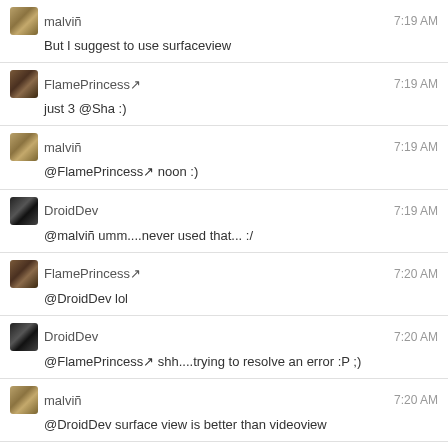malviñ 7:19 AM
But I suggest to use surfaceview
FlamePrincess↗ 7:19 AM
just 3 @Sha :)
malviñ 7:19 AM
@FlamePrincess↗ noon :)
DroidDev 7:19 AM
@malviñ umm....never used that... :/
FlamePrincess↗ 7:20 AM
@DroidDev lol
DroidDev 7:20 AM
@FlamePrincess↗ shh....trying to resolve an error :P ;)
malviñ 7:20 AM
@DroidDev surface view is better than videoview
FlamePrincess↗ 7:20 AM
@DroidDev I already did :P hurrrraayyy
@DroidDev gems
malviñ 7:21 AM